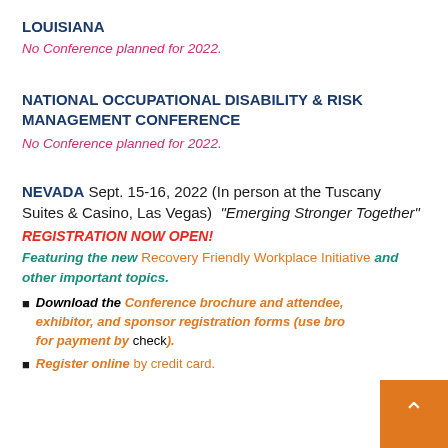LOUISIANA
No Conference planned for 2022.
NATIONAL OCCUPATIONAL DISABILITY & RISK MANAGEMENT CONFERENCE
No Conference planned for 2022.
NEVADA Sept. 15-16, 2022 (In person at the Tuscany Suites & Casino, Las Vegas) "Emerging Stronger Together"
REGISTRATION NOW OPEN!
Featuring the new Recovery Friendly Workplace Initiative and other important topics.
Download the Conference brochure and attendee, exhibitor, and sponsor registration forms (use bro... for payment by check).
Register online by credit card.